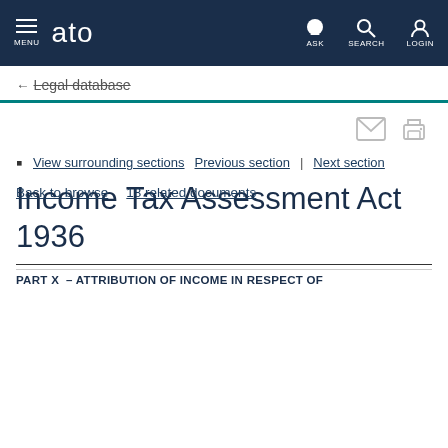MENU  ato  ASK  SEARCH  LOGIN
← Legal database
Back to browse  18 related documents
View surrounding sections  Previous section  |  Next section
Income Tax Assessment Act 1936
PART X – ATTRIBUTION OF INCOME IN RESPECT OF